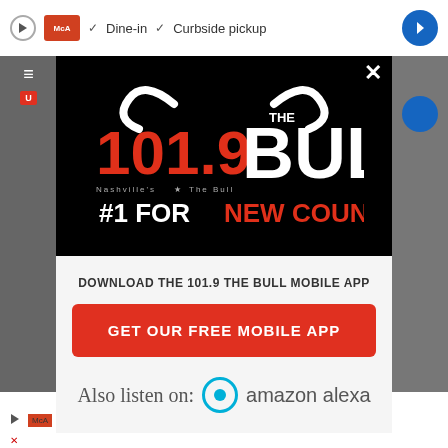[Figure (screenshot): Mobile app download popup modal for 101.9 The Bull radio station on a website screenshot. Top black section shows the 101.9 The Bull logo with bull horns and '#1 FOR NEW COUNTRY!' tagline. White section below has text 'DOWNLOAD THE 101.9 THE BULL MOBILE APP', a red button 'GET OUR FREE MOBILE APP', and 'Also listen on: amazon alexa' with Alexa ring icon. Background shows dimmed website with ad bars top and bottom.]
DOWNLOAD THE 101.9 THE BULL MOBILE APP
GET OUR FREE MOBILE APP
Also listen on:  amazon alexa